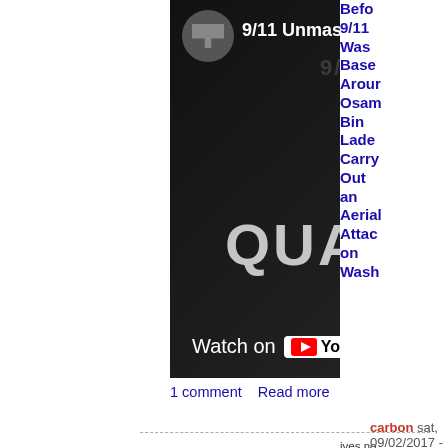[Figure (screenshot): YouTube video thumbnail for '9/11 Unmasked - Who is Qualified?' showing dark background with text 'QUALID', 'WHO IS', and a red YouTube play button, with 'Watch on YouTube' at the bottom]
1 comment   Read more
carbon sat, 09/02/2017 - 7:1...
9/11: The Pentagon's B-Movie
9/11  Anniversary  disinformation  film  media  Movie  pentagon
Bef... 9/11 Was Based Around Osama Bin Laden Carry Out an Aerial Attack on Wash...
ives no or corporate rely on your support.
Donate
thly: